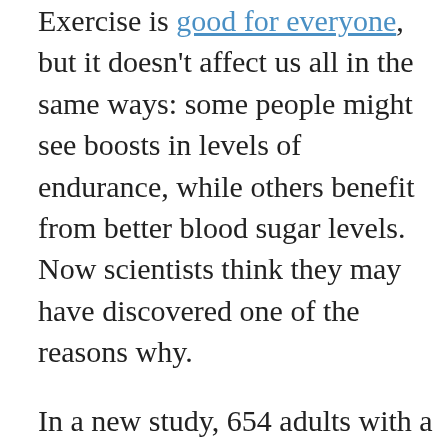Exercise is good for everyone, but it doesn't affect us all in the same ways: some people might see boosts in levels of endurance, while others benefit from better blood sugar levels. Now scientists think they may have discovered one of the reasons why.
In a new study, 654 adults with a mostly sedentary